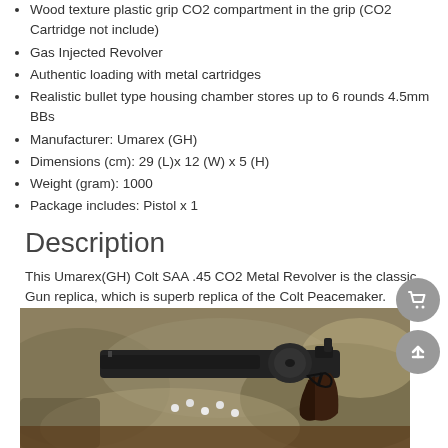Wood texture plastic grip  CO2 compartment in the grip (CO2 Cartridge not include)
Gas Injected Revolver
Authentic loading with metal cartridges
Realistic bullet type housing chamber stores up to 6 rounds 4.5mm BBs
Manufacturer: Umarex (GH)
Dimensions (cm): 29 (L)x 12 (W) x 5 (H)
Weight (gram): 1000
Package includes: Pistol x 1
Description
This Umarex(GH) Colt SAA .45 CO2 Metal Revolver is the classic Gun replica, which is superb replica of the Colt Peacemaker. Powerful performance with CO2 gas and it is 4.5mm BB revolver you had found.
[Figure (photo): Photo of a Colt SAA .45 revolver on military camouflage fabric with BB pellets scattered around it]